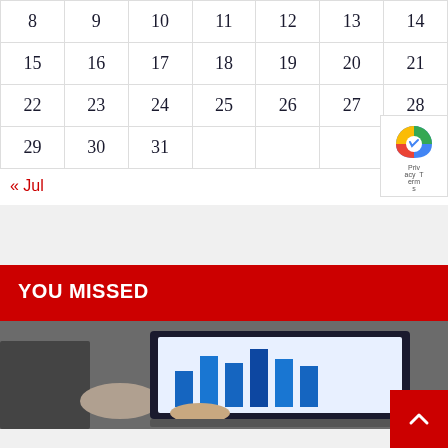| 8 | 9 | 10 | 11 | 12 | 13 | 14 |
| 15 | 16 | 17 | 18 | 19 | 20 | 21 |
| 22 | 23 | 24 | 25 | 26 | 27 | 28 |
| 29 | 30 | 31 |  |  |  |  |
« Jul
YOU MISSED
[Figure (photo): Person pointing at a laptop screen displaying a bar chart with data]